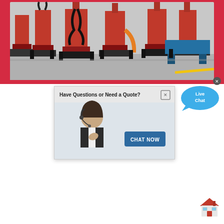[Figure (photo): Industrial machinery photo showing red drilling or milling machines mounted on black metal frames in a factory setting. Multiple large red machines with hydraulic components visible, arranged in a row on a workshop floor with gray concrete ground.]
[Figure (screenshot): Live chat popup widget. Top banner reads 'Have Questions or Need a Quote?' with an X close button. Below is a photo of a smiling woman wearing a headset, with a blue 'CHAT NOW' button on the right side.]
[Figure (illustration): Live Chat speech bubble icon in blue with text 'Live Chat' and a small blue circle with X close button in upper right.]
[Figure (illustration): Small house/home icon emoji in red and white at the bottom right of the page.]